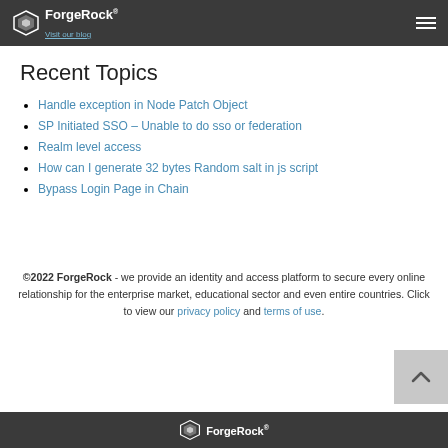ForgeRock - Visit our blog
Recent Topics
Handle exception in Node Patch Object
SP Initiated SSO – Unable to do sso or federation
Realm level access
How can I generate 32 bytes Random salt in js script
Bypass Login Page in Chain
©2022 ForgeRock - we provide an identity and access platform to secure every online relationship for the enterprise market, educational sector and even entire countries. Click to view our privacy policy and terms of use.
ForgeRock